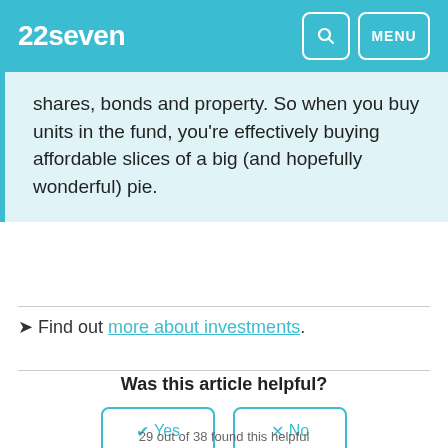22seven
shares, bonds and property. So when you buy units in the fund, you're effectively buying affordable slices of a big (and hopefully wonderful) pie.
➤ Find out more about investments.
Was this article helpful?
✔ Yes   ✕ No
29 out of 38 found this helpful